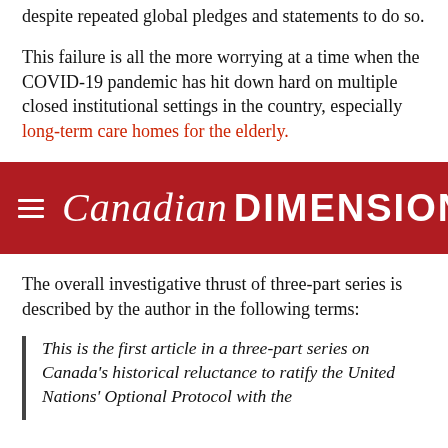despite repeated global pledges and statements to do so.
This failure is all the more worrying at a time when the COVID-19 pandemic has hit down hard on multiple closed institutional settings in the country, especially long-term care homes for the elderly.
[Figure (logo): Canadian Dimension magazine logo: red banner with hamburger menu icon, script 'Canadian' and bold 'DIMENSION' in white text.]
The overall investigative thrust of three-part series is described by the author in the following terms:
This is the first article in a three-part series on Canada's historical reluctance to ratify the United Nations' Optional Protocol with the